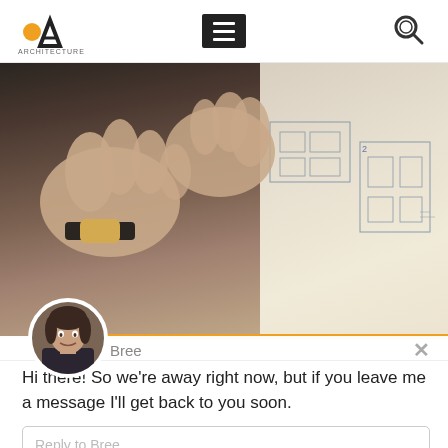[Figure (screenshot): Website header with logo (letter A with orange dot), hamburger menu button, and search icon]
[Figure (photo): Hands typing on a laptop keyboard with architectural floor plan blueprints visible to the right]
Bree
Hi there! So we're away right now, but if you leave me a message I'll get back to you soon.
Reply to Bree
What we can...
Chat ⚡ by Drift